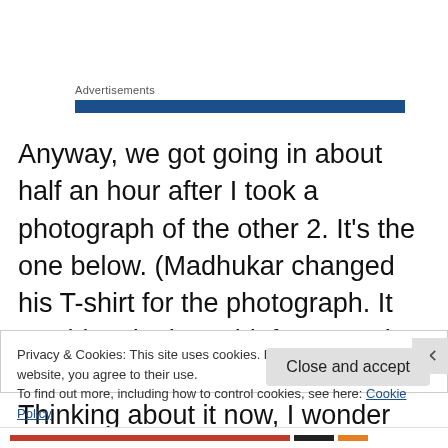Advertisements
Anyway, we got going in about half an hour after I took a photograph of the other 2. It’s the one below. (Madhukar changed his T-shirt for the photograph. It wouldn’t do, he said, for posterity to see him in a sodden shirt.) Thinking about it now, I wonder why it didn’t strike us to show one of the
Privacy & Cookies: This site uses cookies. By continuing to use this website, you agree to their use.
To find out more, including how to control cookies, see here: Cookie Policy
Close and accept